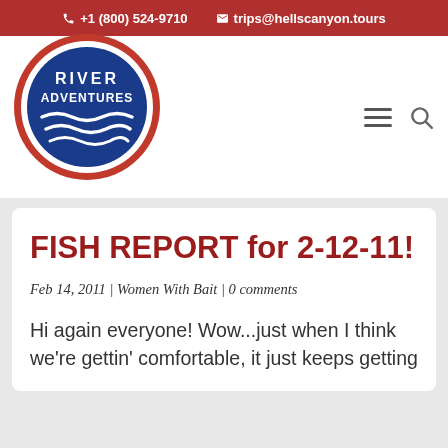+1 (800) 524-9710  trips@hellscanyon.tours
[Figure (logo): River Adventures circular logo with blue background, white wave lines, and red border ring]
FISH REPORT for 2-12-11!
Feb 14, 2011 | Women With Bait | 0 comments
Hi again everyone!  Wow...just when I think we're gettin' comfortable, it just keeps getting